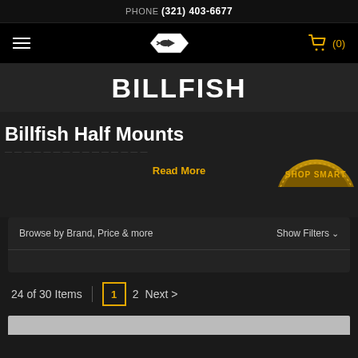PHONE (321) 403-6677
[Figure (logo): Billfish brand logo badge with fish silhouette on dark nav bar, with hamburger menu and shopping cart icon showing (0) items]
BILLFISH
Billfish Half Mounts
Read More
Browse by Brand, Price & more
Show Filters
24 of 30 Items   1   2   Next >